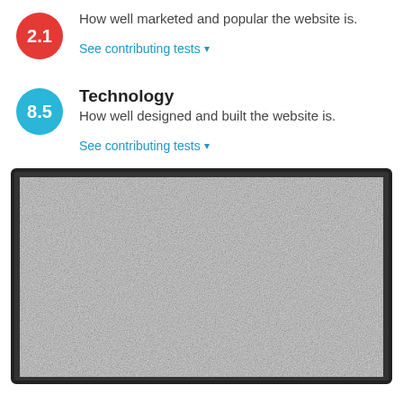2.1 — How well marketed and popular the website is.
See contributing tests
Technology
8.5 — How well designed and built the website is.
See contributing tests
[Figure (screenshot): Screenshot of a website displayed inside a dark laptop/monitor frame. The content area shows a grainy, noisy gray placeholder image.]